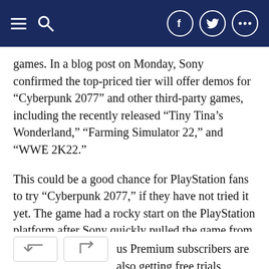Navigation bar with hamburger menu, search icon, and social icons (Facebook, Twitter, More)
games. In a blog post on Monday, Sony confirmed the top-priced tier will offer demos for “Cyberpunk 2077” and other third-party games, including the recently released “Tiny Tina’s Wonderland,” “Farming Simulator 22,” and “WWE 2K22.”
This could be a good chance for PlayStation fans to try “Cyberpunk 2077,” if they have not tried it yet. The game had a rocky start on the PlayStation platform after Sony quickly pulled the game from its digital store due to persistent bugs and crash issues that led to widespread refund requests. Sony noted that PS Plus Premium will offer a free trial of the game’s PS5 version.
PS Plus Premium subscribers are also getting free trials